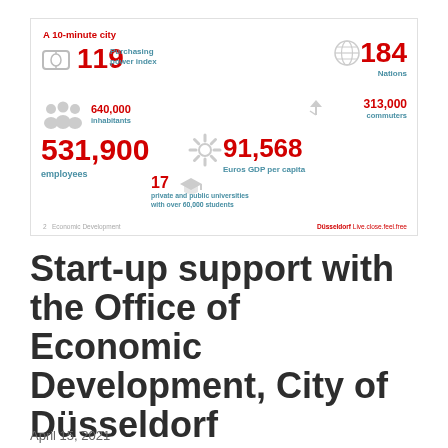[Figure (infographic): Düsseldorf city statistics infographic showing: A 10-minute city, 119 Purchasing power index, 184 Nations, 640,000 inhabitants, 313,000 commuters, 531,900 employees, 91,568 Euros GDP per capita, 17 private and public universities with over 60,000 students. Footer: 2 Economic Development | Düsseldorf Live.close.feel.free]
Start-up support with the Office of Economic Development, City of Düsseldorf
April 15, 2021